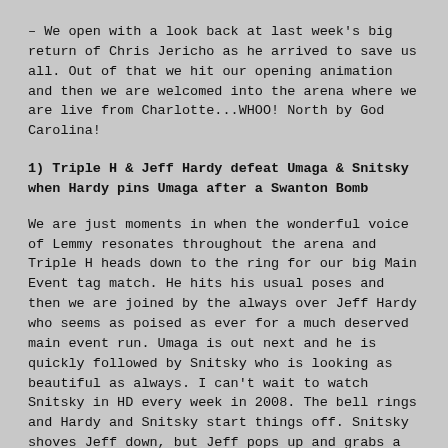– We open with a look back at last week's big return of Chris Jericho as he arrived to save us all. Out of that we hit our opening animation and then we are welcomed into the arena where we are live from Charlotte...WHOO! North by God Carolina!
1) Triple H & Jeff Hardy defeat Umaga & Snitsky when Hardy pins Umaga after a Swanton Bomb
We are just moments in when the wonderful voice of Lemmy resonates throughout the arena and Triple H heads down to the ring for our big Main Event tag match. He hits his usual poses and then we are joined by the always over Jeff Hardy who seems as poised as ever for a much deserved main event run. Umaga is out next and he is quickly followed by Snitsky who is looking as beautiful as always. I can't wait to watch Snitsky in HD every week in 2008. The bell rings and Hardy and Snitsky start things off. Snitsky shoves Jeff down, but Jeff pops up and grabs a side headlock. Snitsky shoves Jeff off and he tags in Hunter. They lock up but neither man can get a true advantage. Snitsky doesn't break clean and buries his shoulder but eventually misses a charge and hits the post. Triple H works the arm and then tags Hardy in. Lawler reminds us that Snitsky has never been pinned on Raw. Hardy runs into Snitsky and goes careening to the floor. Snitsky follows, but